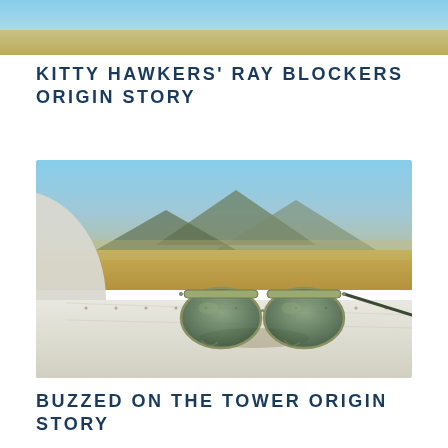[Figure (photo): Partial top image showing colorful outdoor scene, cropped at top of page]
KITTY HAWKERS' RAY BLOCKERS ORIGIN STORY
[Figure (photo): Aviator-style sunglasses with green tinted lenses resting on an aircraft wing surface, with a desert airfield and mountains in the blurred background]
BUZZED ON THE TOWER ORIGIN STORY